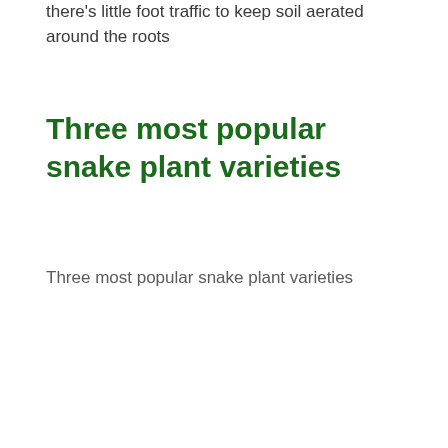there's little foot traffic to keep soil aerated around the roots
Three most popular snake plant varieties
Three most popular snake plant varieties